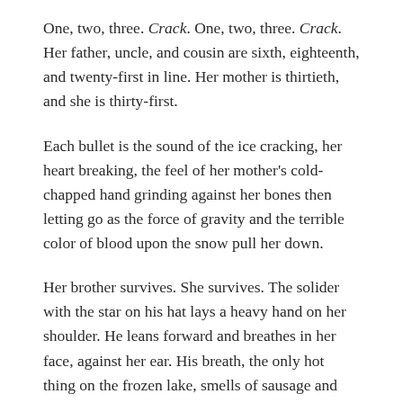One, two, three. Crack. One, two, three. Crack. Her father, uncle, and cousin are sixth, eighteenth, and twenty-first in line. Her mother is thirtieth, and she is thirty-first.
Each bullet is the sound of the ice cracking, her heart breaking, the feel of her mother's cold-chapped hand grinding against her bones then letting go as the force of gravity and the terrible color of blood upon the snow pull her down.
Her brother survives. She survives. The solider with the star on his hat lays a heavy hand on her shoulder. He leans forward and breathes in her face, against her ear. His breath, the only hot thing on the frozen lake, smells of sausage and cheap whiskey.